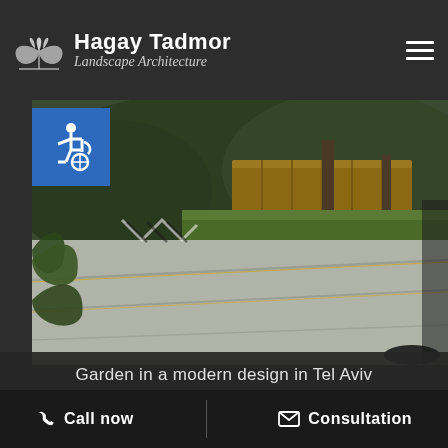Hagay Tadmor Landscape Architecture
[Figure (photo): Outdoor garden with modern concrete paving slabs, lush green plants, a wooden raised planter, and trees in the background. An accessibility icon badge is overlaid in the top-left corner.]
Garden in a modern design in Tel Aviv
Call now   Consultation